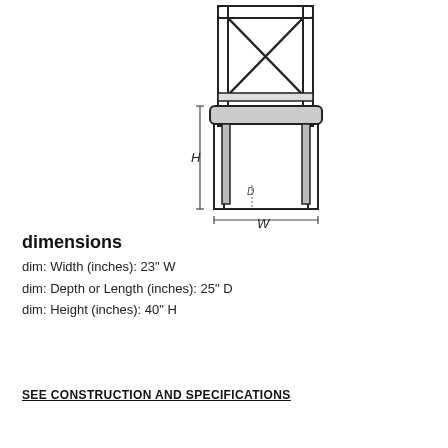[Figure (engineering-diagram): Line drawing of a dining chair shown from the front, with cross-back design and upholstered seat. Dimension lines show H (height) on the left side and W (width) along the bottom, with D indicated near the front leg.]
dimensions
dim: Width (inches): 23" W
dim: Depth or Length (inches): 25" D
dim: Height (inches): 40" H
SEE CONSTRUCTION AND SPECIFICATIONS